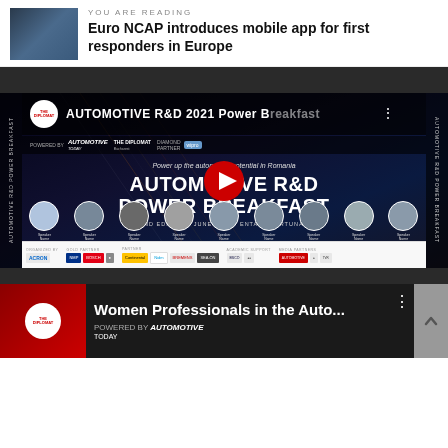YOU ARE READING
Euro NCAP introduces mobile app for first responders in Europe
[Figure (screenshot): YouTube video thumbnail for AUTOMOTIVE R&D 2021 Power Breakfast event, showing event branding, speakers, and sponsors]
[Figure (screenshot): YouTube video thumbnail for Women Professionals in the Auto... event by The Diplomat, powered by Automotive Today]